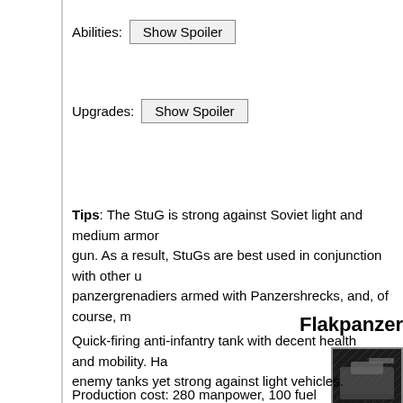Abilities:  [Show Spoiler]
Upgrades:  [Show Spoiler]
Tips: The StuG is strong against Soviet light and medium armor. gun. As a result, StuGs are best used in conjunction with other u panzergrenadiers armed with Panzershrecks, and, of course, m
Flakpanzer
[Figure (photo): Tank unit icon with (T) label on dark background]
Quick-firing anti-infantry tank with decent health and mobility. Ha enemy tanks yet strong against light vehicles.
Production cost: 280 manpower, 100 fuel